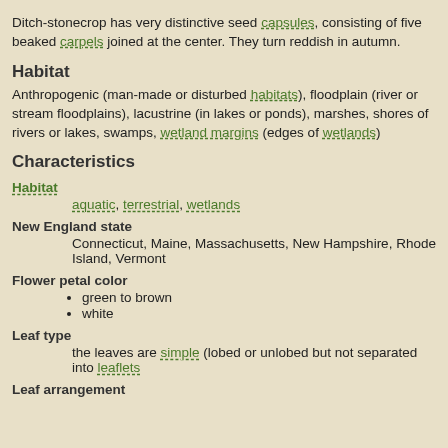Ditch-stonecrop has very distinctive seed capsules, consisting of five beaked carpels joined at the center. They turn reddish in autumn.
Habitat
Anthropogenic (man-made or disturbed habitats), floodplain (river or stream floodplains), lacustrine (in lakes or ponds), marshes, shores of rivers or lakes, swamps, wetland margins (edges of wetlands)
Characteristics
Habitat
aquatic, terrestrial, wetlands
New England state
Connecticut, Maine, Massachusetts, New Hampshire, Rhode Island, Vermont
Flower petal color
green to brown
white
Leaf type
the leaves are simple (lobed or unlobed but not separated into leaflets
Leaf arrangement